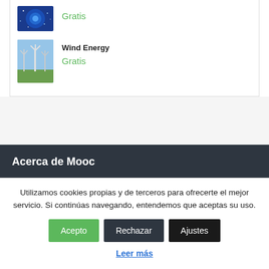[Figure (photo): Thumbnail image of blue science/galaxy themed course]
Gratis
[Figure (photo): Thumbnail image of wind turbines in a field]
Wind Energy
Gratis
Acerca de Mooc
Utilizamos cookies propias y de terceros para ofrecerte el mejor servicio. Si continúas navegando, entendemos que aceptas su uso.
Acepto
Rechazar
Ajustes
Leer más